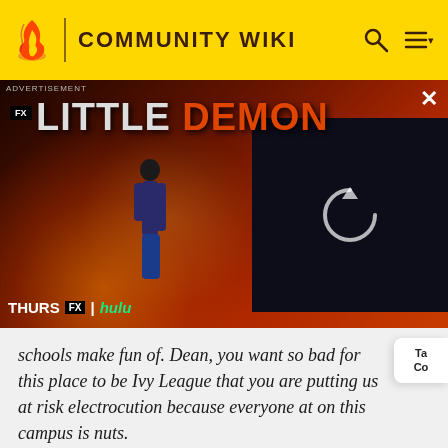COMMUNITY WIKI
[Figure (screenshot): Advertisement banner for FX show 'Little Demon' on Hulu, showing animated characters with fire effects. Text reads: LITTLE DEMON, THURS FX | hulu. Has a close (X) button and a video reload icon overlay on the right side.]
schools make fun of. Dean, you want so bad for this place to be Ivy League that you are putting us at risk electrocution because everyone at on this campus is nuts.
JEFF, DELIVERING HIS PATENTED WINGER SPEECH
[Figure (illustration): Large decorative quotation mark in dark magenta/pink color]